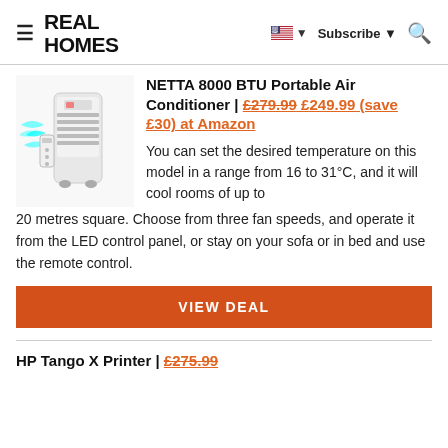REAL HOMES — Subscribe — Search
NETTA 8000 BTU Portable Air Conditioner | £279.99 £249.99 (save £30) at Amazon
[Figure (photo): White portable air conditioner unit with remote control and cyan airflow illustration]
You can set the desired temperature on this model in a range from 16 to 31°C, and it will cool rooms of up to 20 metres square. Choose from three fan speeds, and operate it from the LED control panel, or stay on your sofa or in bed and use the remote control.
VIEW DEAL
HP Tango X Printer | £275.99